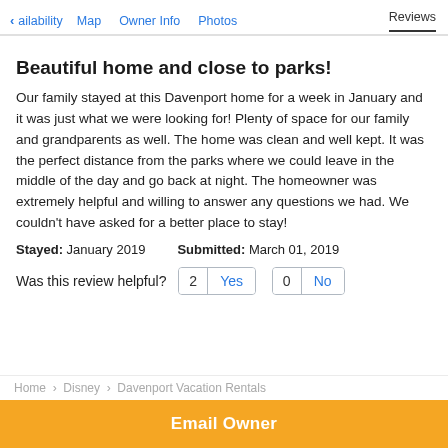< ailability   Map   Owner Info   Photos   Reviews
Beautiful home and close to parks!
Our family stayed at this Davenport home for a week in January and it was just what we were looking for! Plenty of space for our family and grandparents as well. The home was clean and well kept. It was the perfect distance from the parks where we could leave in the middle of the day and go back at night. The homeowner was extremely helpful and willing to answer any questions we had. We couldn't have asked for a better place to stay!
Stayed: January 2019   Submitted: March 01, 2019
Was this review helpful? 2 Yes  0 No
Home > Disney > Davenport Vacation Rentals
Email Owner